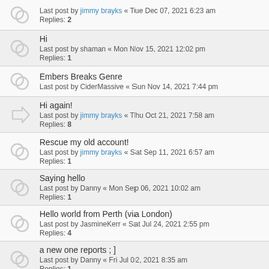Last post by jimmy brayks « Tue Dec 07, 2021 6:23 am
Replies: 2
Hi
Last post by shaman « Mon Nov 15, 2021 12:02 pm
Replies: 1
Embers Breaks Genre
Last post by CiderMassive « Sun Nov 14, 2021 7:44 pm
Hi again!
Last post by jimmy brayks « Thu Oct 21, 2021 7:58 am
Replies: 8
Rescue my old account!
Last post by jimmy brayks « Sat Sep 11, 2021 6:57 am
Replies: 1
Saying hello
Last post by Danny « Mon Sep 06, 2021 10:02 am
Replies: 1
Hello world from Perth (via London)
Last post by JasmineKerr « Sat Jul 24, 2021 2:55 pm
Replies: 4
a new one reports ; ]
Last post by Danny « Fri Jul 02, 2021 8:35 am
Replies: 1